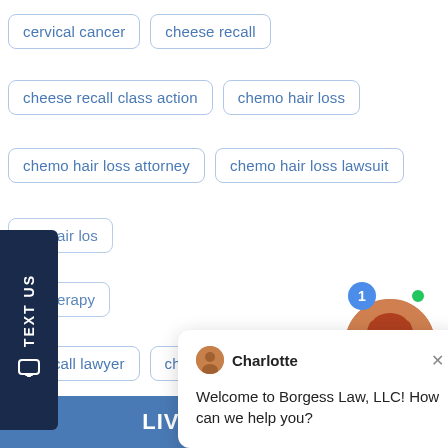[Figure (screenshot): Website screenshot showing a grid of legal keyword search tags (cervical cancer, cheese recall, cheese recall class action, chemo hair loss, chemo hair loss attorney, chemo hair loss lawsuit, mo hair los[s], motherapy, st recall lawyer, child death attorney, children's right, children's rights attorney, children's rights lawyer, child seat), a 'TEXT US' sidebar, a chat popup from Charlotte at Borgess Law LLC saying 'Welcome to Borgess Law, LLC! How can we help you?', a live agent photo with online badge, and a LIVE CHAT footer bar.]